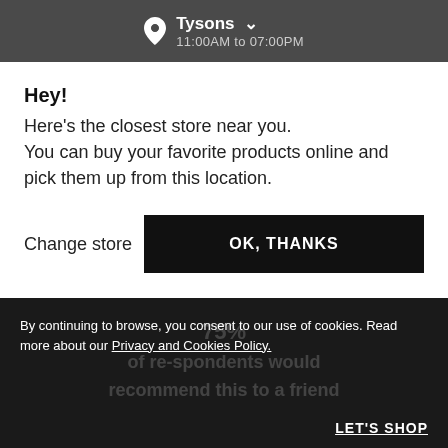Tysons  11:00AM to 07:00PM
Hey!
Here's the closest store near you.
You can buy your favorite products online and pick them up from this location.
Change store
OK, THANKS
[Figure (other): 4 out of 5 stars rating: 4 filled black stars and 1 gray star]
By continuing to browse, you consent to our use of cookies. Read more about our Privacy and Cookies Policy.
... responsible to/and recommend this to a friend
LET'S SHOP